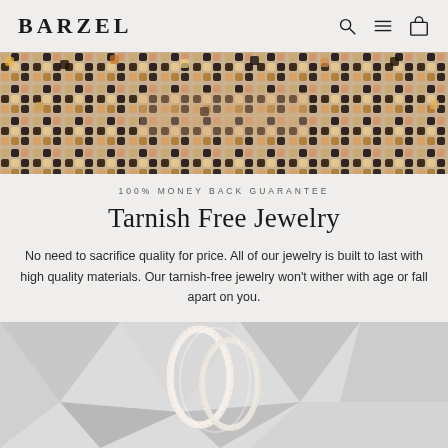BARZEL
[Figure (photo): Close-up photo of a colorful mosaic pattern with small square tiles in brown, orange, dark blue/black, and cream colors arranged in a repeating pattern]
100% MONEY BACK GUARANTEE
Tarnish Free Jewelry
No need to sacrifice quality for price. All of our jewelry is built to last with high quality materials. Our tarnish-free jewelry won't wither with age or fall apart on you.
[Figure (photo): Photo of white/cream jewelry pieces (appears to be bracelets or bangles with delicate detailing) displayed against a light geometric background with triangular shapes]